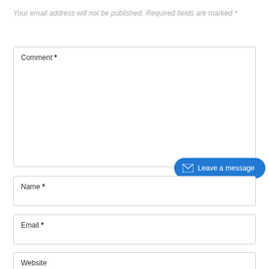Your email address will not be published. Required fields are marked *
Comment *
Name *
Email *
Website
[Figure (other): Blue pill-shaped button with envelope icon and text 'Leave a message']